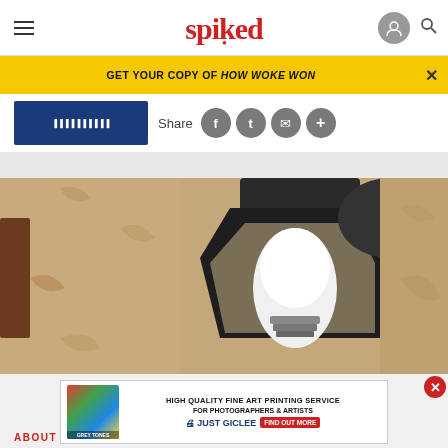spiked
GET YOUR COPY OF HOW WOKE WON ×
[Figure (screenshot): Share bar with blue block and social sharing icons (Facebook, Twitter, Email, Plus) on white background]
Tab00la Feed
[Figure (photo): Close-up photo of an outdoor wall-mounted lantern light fixture with a white bulb, mounted on a textured beige stucco wall]
[Figure (screenshot): Advertisement for High Quality Fine Art Printing Service for Photographers & Artists - Just Giclee. Shows colorful paint swatches and a portrait. Has Find Out More button.]
ABOUT